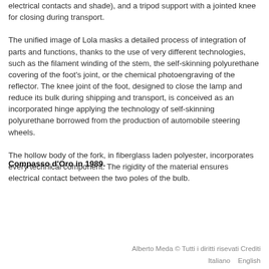electrical contacts and shade), and a tripod support with a jointed knee for closing during transport. The unified image of Lola masks a detailed process of integration of parts and functions, thanks to the use of very different technologies, such as the filament winding of the stem, the self-skinning polyurethane covering of the foot's joint, or the chemical photoengraving of the reflector. The knee joint of the foot, designed to close the lamp and reduce its bulk during shipping and transport, is conceived as an incorporated hinge applying the technology of self-skinning polyurethane borrowed from the production of automobile steering wheels. The hollow body of the fork, in fiberglass laden polyester, incorporates every technical component. The rigidity of the material ensures electrical contact between the two poles of the bulb.
Compasso d'Oro in 1989.
Alberto Meda © Tutti i diritti risevati Crediti
Italiano    English